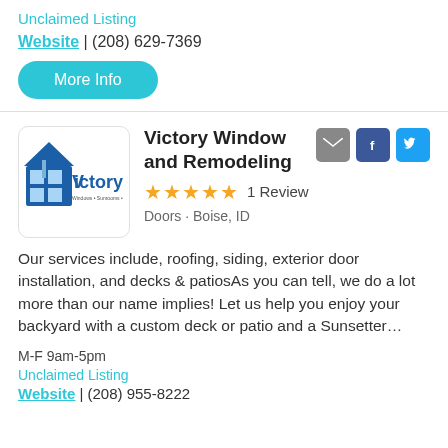Unclaimed Listing
Website | (208) 629-7369
More Info
[Figure (logo): Victory Window and Remodeling company logo — house/window icon with 'Victory' text and tagline 'Windows • Sunrooms • Home Exteriors']
Victory Window and Remodeling
★★★★★  1 Review
Doors • Boise, ID
Our services include, roofing, siding, exterior door installation, and decks & patiosAs you can tell, we do a lot more than our name implies! Let us help you enjoy your backyard with a custom deck or patio and a Sunsetter…
M-F 9am-5pm
Unclaimed Listing
Website | (208) 955-8222